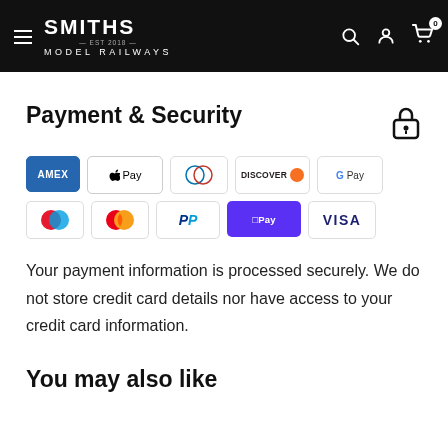Smiths Model Railways
Payment & Security
[Figure (infographic): Payment method logos: American Express, Apple Pay, Diners Club, Discover, Google Pay, Maestro, Mastercard, PayPal, Shop Pay, Visa]
Your payment information is processed securely. We do not store credit card details nor have access to your credit card information.
You may also like